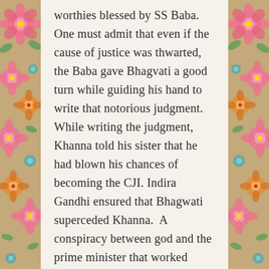worthies blessed by SS Baba. One must admit that even if the cause of justice was thwarted, the Baba gave Bhagvati a good turn while guiding his hand to write that notorious judgment. While writing the judgment, Khanna told his sister that he had blown his chances of becoming the CJI. Indira Gandhi ensured that Bhagwati superceded Khanna. A conspiracy between god and the prime minister that worked through the period of emergency. That conspiracy, nevertheless, could not block Khanna's courage from being lauded by the legal fraternity and print media across the civilised word.